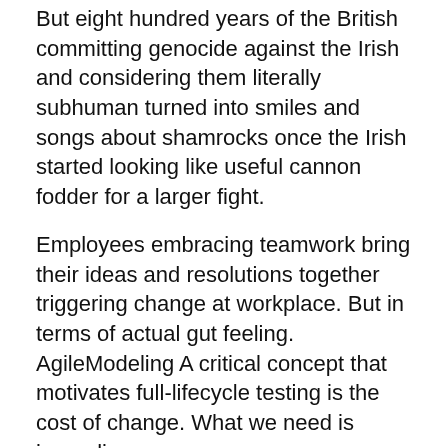But eight hundred years of the British committing genocide against the Irish and considering them literally subhuman turned into smiles and songs about shamrocks once the Irish started looking like useful cannon fodder for a larger fight.
Employees embracing teamwork bring their ideas and resolutions together triggering change at workplace. But in terms of actual gut feeling. AgileModeling A critical concept that motivates full-lifecycle testing is the cost of change. What we need is journalism.
They prefer change that challenges current structure and are likely to challenge accepted assumptions. In the same way, glaciers will also melt and create problems on land. Aldus Manutius, the Venetian printer and publisher, invented the smaller octavo volume along with italic type.
And that was when something clicked for me. This shunting aside of the realists in favor of the fabulists has different effects on different industries at different times.